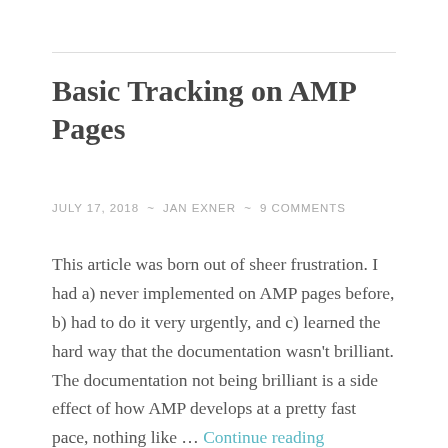Basic Tracking on AMP Pages
JULY 17, 2018 ~ JAN EXNER ~ 9 COMMENTS
This article was born out of sheer frustration. I had a) never implemented on AMP pages before, b) had to do it very urgently, and c) learned the hard way that the documentation wasn't brilliant. The documentation not being brilliant is a side effect of how AMP develops at a pretty fast pace, nothing like … Continue reading